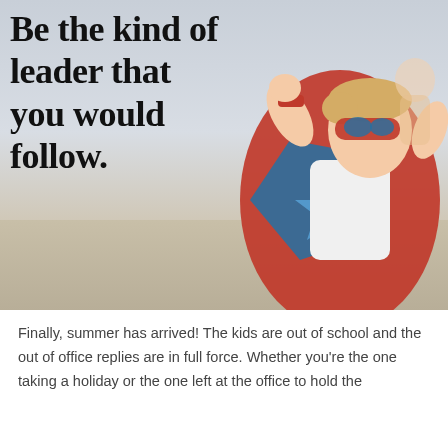[Figure (photo): A young boy dressed as a superhero with a red and blue cape, red mask, and red wristband, flexing his arms in a heroic pose against a soft outdoor background. Bold text overlaid on the left reads: Be the kind of leader that you would follow.]
Be the kind of leader that you would follow.
Finally, summer has arrived! The kids are out of school and the out of office replies are in full force. Whether you're the one taking a holiday or the one left at the office to hold the